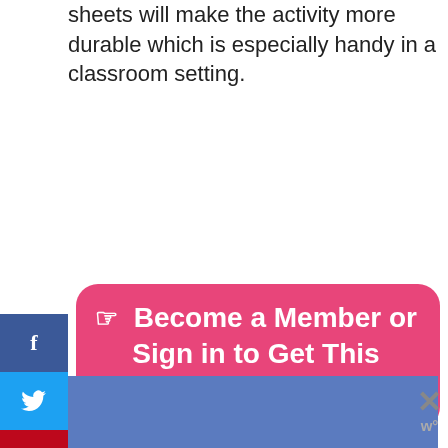sheets will make the activity more durable which is especially handy in a classroom setting.
[Figure (infographic): Pink rounded rectangle button with hand pointer icon and text: Become a Member or Sign in to Get This Template]
170396 SHARES
Printable Spring Quiet Book Walk-trough the Activity Pages
[Figure (screenshot): Blue banner advertisement with X close button and W logo]